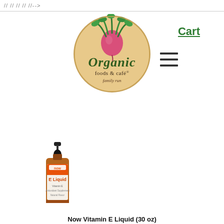// // // // //-->
[Figure (logo): Organic Foods & Cafe logo — circular badge with beet illustration, green text reading 'Organic foods & cafe® family run']
Cart
[Figure (illustration): Hamburger/list menu icon (three horizontal lines)]
[Figure (photo): NOW brand Vitamin E Liquid product in small amber dropper bottle]
Now Vitamin E Liquid (30 oz)